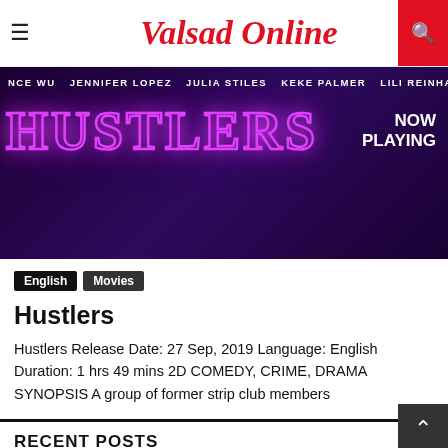Valsad Online
[Figure (photo): Hustlers movie promotional banner showing cast names (NCE WU, JENNIFER LOPEZ, JULIA STILES, KEKE PALMER, LILI REINHART, LIZZO) with neon pink title HUSTLERS and NOW PLAYING text on dark purple background]
English   Movies
Hustlers
Hustlers Release Date: 27 Sep, 2019 Language: English Duration: 1 hrs 49 mins 2D COMEDY, CRIME, DRAMA SYNOPSIS A group of former strip club members
RECENT POSTS